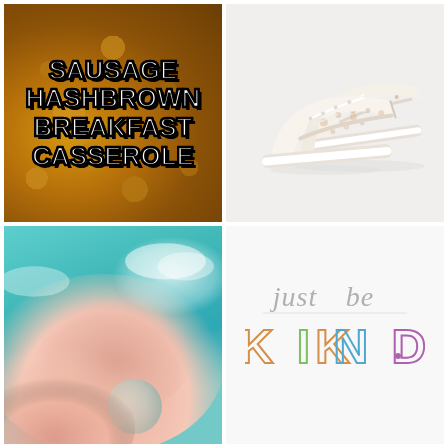[Figure (photo): Food photo with text overlay reading SAUSAGE HASHBROWN BREAKFAST CASSEROLE in bold white letters with black outline on a golden-brown casserole background]
[Figure (photo): Product photo of cream/white floral patterned Vans Old Skool sneakers on a white background]
[Figure (photo): Aesthetic sky photo with teal/turquoise sky, pink clouds, and a crescent moon]
[Figure (illustration): Handwritten-style motivational text reading 'just be KIND' in cursive gray letters with colorful KIND word]